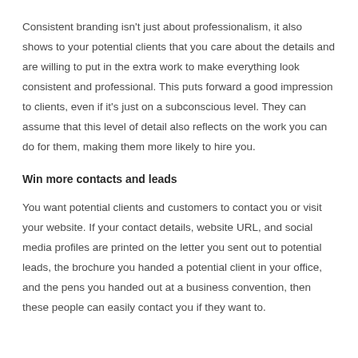Consistent branding isn't just about professionalism, it also shows to your potential clients that you care about the details and are willing to put in the extra work to make everything look consistent and professional. This puts forward a good impression to clients, even if it's just on a subconscious level. They can assume that this level of detail also reflects on the work you can do for them, making them more likely to hire you.
Win more contacts and leads
You want potential clients and customers to contact you or visit your website. If your contact details, website URL, and social media profiles are printed on the letter you sent out to potential leads, the brochure you handed a potential client in your office, and the pens you handed out at a business convention, then these people can easily contact you if they want to.